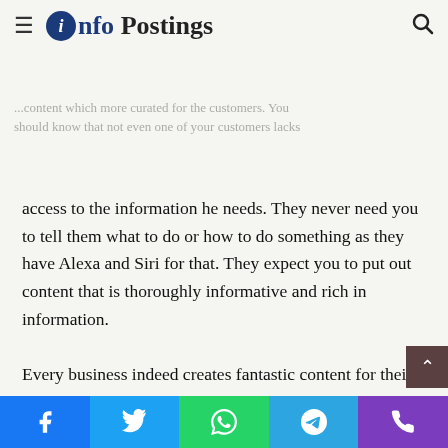≡ i Info Postings 🔍
The Content Curation
...content which more curated for the customers. You should know that not even one of your customers lacks access to the information he needs. They never need you to tell them what to do or how to do something as they have Alexa and Siri for that. They expect you to put out content that is thoroughly informative and rich in information.
Every business indeed creates fantastic content for their customers, but they need to ensure that it is curated. You can understand curation as putting out your best relevant content for the relevant customers to consume. This is how you will have your own unique voice in the market.
If someone loves music, then the chances are that they will searching for their favorite singers or bands on Spotify. This is
Facebook Twitter WhatsApp Telegram Phone